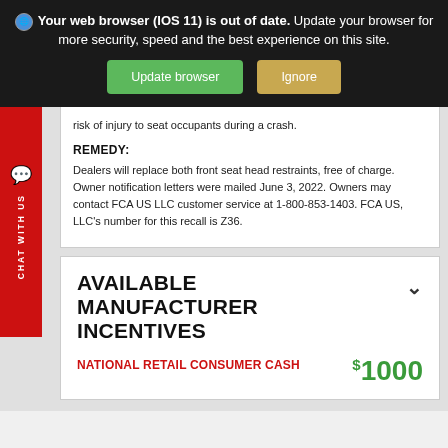Your web browser (IOS 11) is out of date. Update your browser for more security, speed and the best experience on this site.
Update browser | Ignore
risk of injury to seat occupants during a crash.
REMEDY:
Dealers will replace both front seat head restraints, free of charge. Owner notification letters were mailed June 3, 2022. Owners may contact FCA US LLC customer service at 1-800-853-1403. FCA US, LLC's number for this recall is Z36.
AVAILABLE MANUFACTURER INCENTIVES
NATIONAL RETAIL CONSUMER CASH
$1000